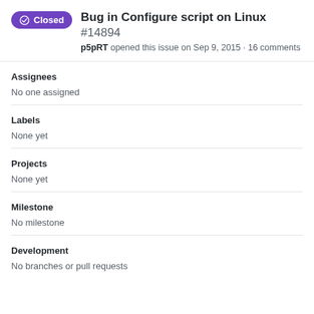Bug in Configure script on Linux #14894
p5pRT opened this issue on Sep 9, 2015 · 16 comments
Assignees
No one assigned
Labels
None yet
Projects
None yet
Milestone
No milestone
Development
No branches or pull requests